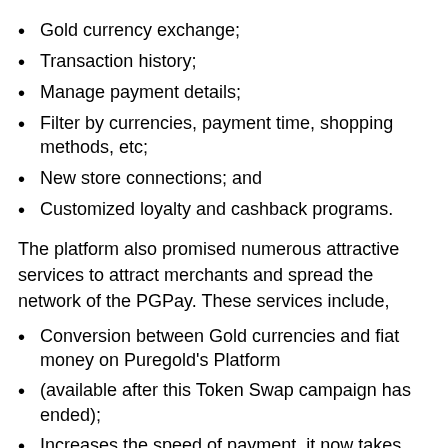Gold currency exchange;
Transaction history;
Manage payment details;
Filter by currencies, payment time, shopping methods, etc;
New store connections; and
Customized loyalty and cashback programs.
The platform also promised numerous attractive services to attract merchants and spread the network of the PGPay. These services include,
Conversion between Gold currencies and fiat money on Puregold's Platform
(available after this Token Swap campaign has ended);
Increases the speed of payment, it now takes approximately 1 minute compared with